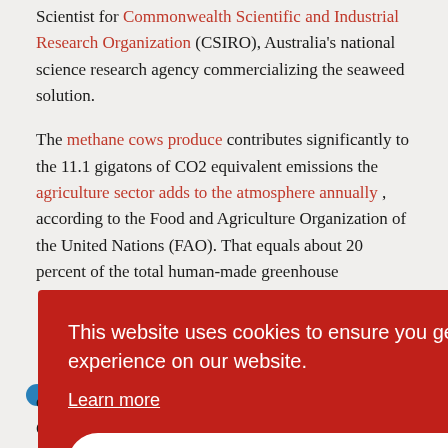Scientist for Commonwealth Scientific and Industrial Research Organization (CSIRO), Australia's national science research agency commercializing the seaweed solution.
The methane cows produce contributes significantly to the 11.1 gigatons of CO2 equivalent emissions the agriculture sector adds to the atmosphere annually , according to the Food and Agriculture Organization of the United Nations (FAO). That equals about 20 percent of the total human-made greenhouse
This website uses cookies to ensure you get the best experience on our website. Learn more GOT IT!
devastating effects of global warming, scientists at the CGIAR